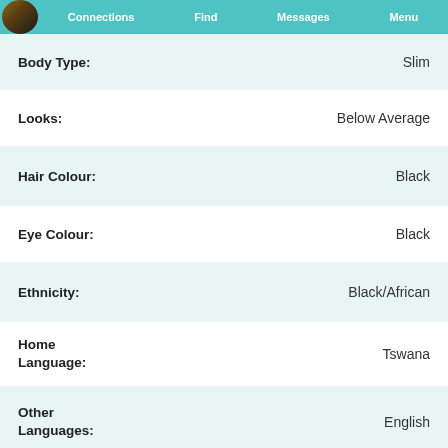Connections | Find | Messages | Menu
Body Type: Slim
Looks: Below Average
Hair Colour: Black
Eye Colour: Black
Ethnicity: Black/African
Home Language: Tswana
Other Languages: English
Religion: Christian / Other